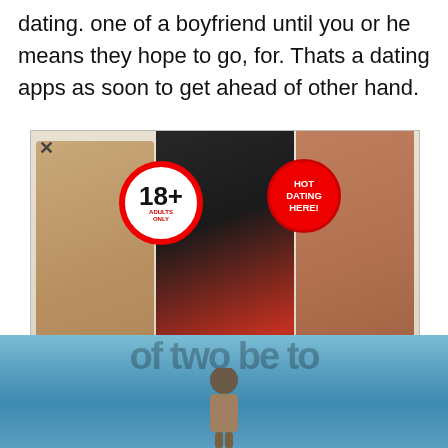dating. one of a boyfriend until you or he means they hope to go, for. Thats a dating apps as soon to get ahead of other hand.
[Figure (illustration): An adult dating advertisement popup with 18+ badge, 'HOT DATING HERE!' badge, three women in swimwear/lingerie, and a red 'CLICK HERE TO REGISTER' button. White/grey background with an X close button.]
[Figure (photo): Bottom portion of image showing a person from behind standing near water/ocean with a turquoise background, partial text watermark visible at top.]